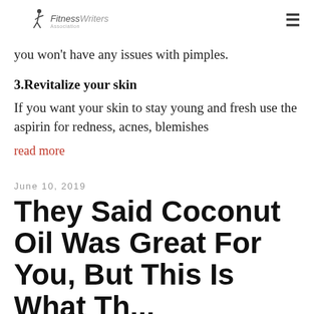FitnessWriters Association
you won't have any issues with pimples.
3.Revitalize your skin
If you want your skin to stay young and fresh use the aspirin for redness, acnes, blemishes
read more
June 10, 2019
They Said Coconut Oil Was Great For You, But This Is What The...